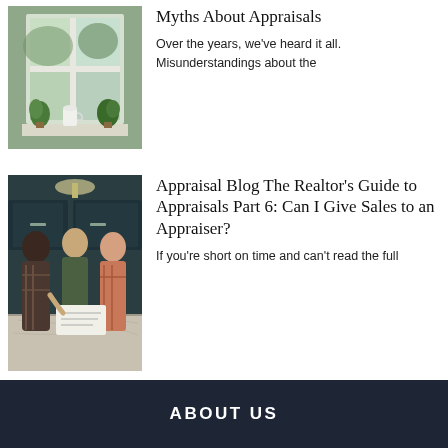[Figure (photo): A bright kitchen window with plants and a white pitcher on the sill, natural light outside]
Myths About Appraisals
Over the years, we've heard it all. Misunderstandings about the
[Figure (photo): Three people (two men and a woman) looking at documents together in a modern kitchen with dark cabinetry]
Appraisal Blog The Realtor's Guide to Appraisals Part 6: Can I Give Sales to an Appraiser?
If you're short on time and can't read the full
ABOUT US